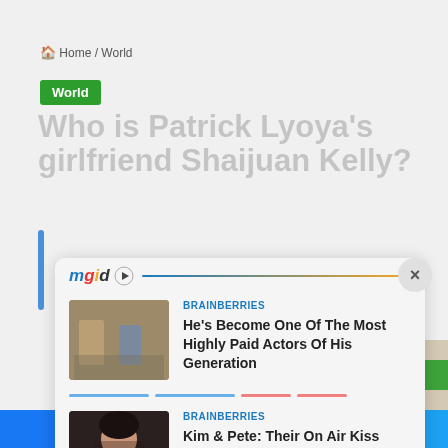Home / World
World
Who is Patrick Lyoya's girlfriend Shaijuan Kelly?
[Figure (screenshot): MGID advertising overlay widget with close button (×), showing two sponsored article cards from BRAINBERRIES. Card 1: thumbnail of two men on city street, headline 'He's Become One Of The Most Highly Paid Actors Of His Generation'. Card 2: thumbnail of a dark-haired woman, headline 'Kim & Pete: Their On Air Kiss Was Nothing More Than Acting?'.]
Facebook share | Twitter share